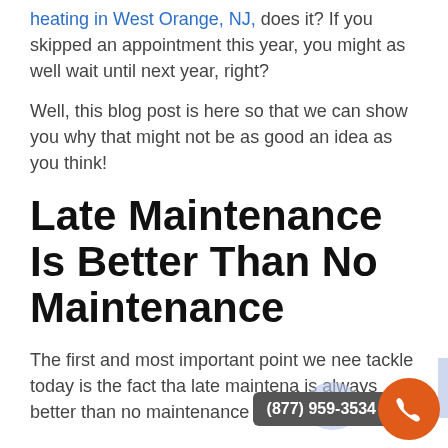heating in West Orange, NJ, does it? If you skipped an appointment this year, you might as well wait until next year, right?
Well, this blog post is here so that we can show you why that might not be as good an idea as you think!
Late Maintenance Is Better Than No Maintenance
The first and most important point we need to tackle today is the fact that late maintenance is always better than no maintenance at all.